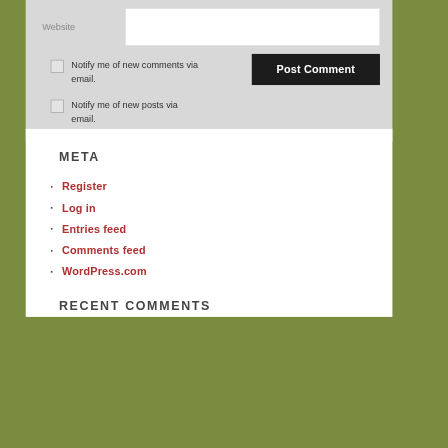[Figure (screenshot): Website form field with label 'Website' on grey background and white input area]
Notify me of new comments via email.
Notify me of new posts via email.
[Figure (screenshot): Post Comment button in black]
META
Register
Log in
Entries feed
Comments feed
WordPress.com
RECENT COMMENTS